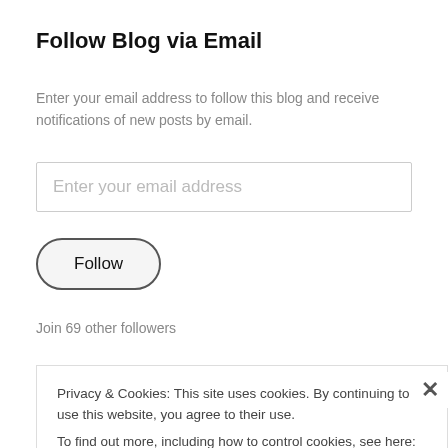Follow Blog via Email
Enter your email address to follow this blog and receive notifications of new posts by email.
Enter your email address
Follow
Join 69 other followers
Privacy & Cookies: This site uses cookies. By continuing to use this website, you agree to their use.
To find out more, including how to control cookies, see here: Cookie Policy
Close and accept